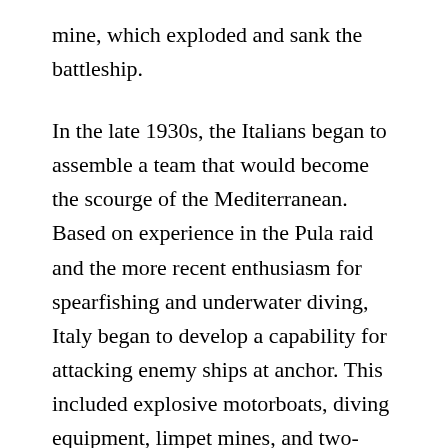mine, which exploded and sank the battleship.
In the late 1930s, the Italians began to assemble a team that would become the scourge of the Mediterranean. Based on experience in the Pula raid and the more recent enthusiasm for spearfishing and underwater diving, Italy began to develop a capability for attacking enemy ships at anchor. This included explosive motorboats, diving equipment, limpet mines, and two-man minisubs known as “human torpedoes.” In 1940, the Regia Marina stood up Decima Flottiglia MAS, a team detailed to conduct raids against Allied facilities.